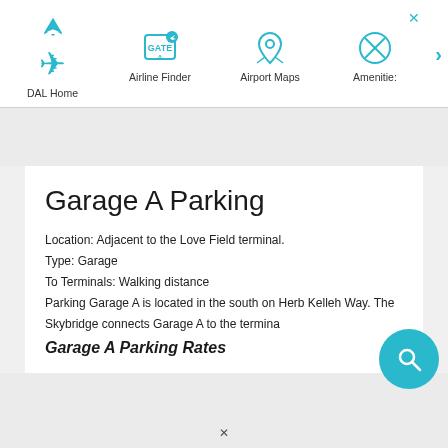DAL Home | Airline Finder | Airport Maps | Amenities
Garage A Parking
Location: Adjacent to the Love Field terminal.
Type: Garage
To Terminals: Walking distance
Parking Garage A is located in the south on Herb Kelleh Way. The Skybridge connects Garage A to the terminal.
Garage A Parking Rates